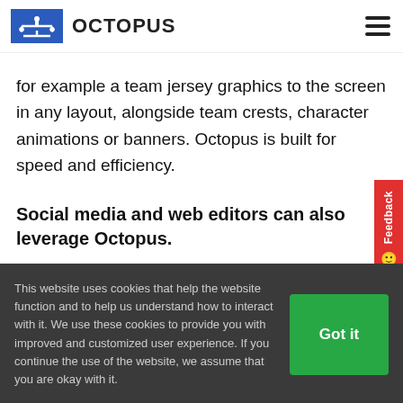OCTOPUS
for example a team jersey graphics to the screen in any layout, alongside team crests, character animations or banners. Octopus is built for speed and efficiency.
Social media and web editors can also leverage Octopus.
This website uses cookies that help the website function and to help us understand how to interact with it. We use these cookies to provide you with improved and customized user experience. If you continue the use of the website, we assume that you are okay with it.